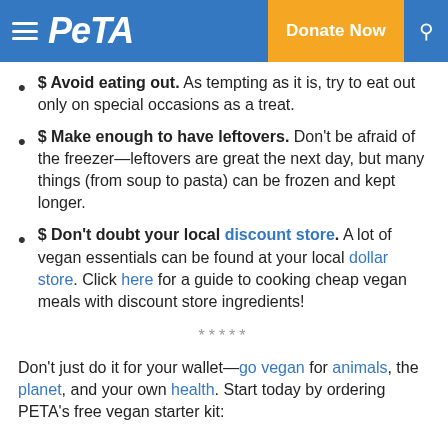PETA — Donate Now
$ Avoid eating out. As tempting as it is, try to eat out only on special occasions as a treat.
$ Make enough to have leftovers. Don't be afraid of the freezer—leftovers are great the next day, but many things (from soup to pasta) can be frozen and kept longer.
$ Don't doubt your local discount store. A lot of vegan essentials can be found at your local dollar store. Click here for a guide to cooking cheap vegan meals with discount store ingredients!
*****
Don't just do it for your wallet—go vegan for animals, the planet, and your own health. Start today by ordering PETA's free vegan starter kit: